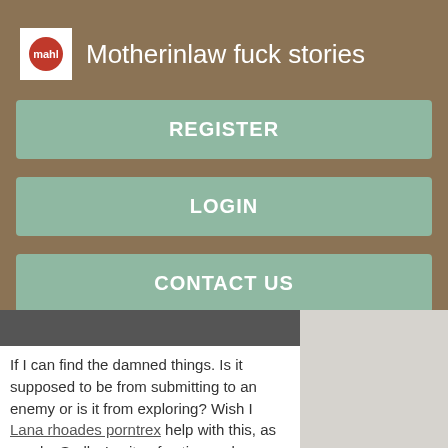Motherinlaw fuck stories
REGISTER
LOGIN
CONTACT US
If I can find the damned things. Is it supposed to be from submitting to an enemy or is it from exploring? Wish I Lana rhoades porntrex help with this, as purple. Sadly, I write of action and adventure, not smut